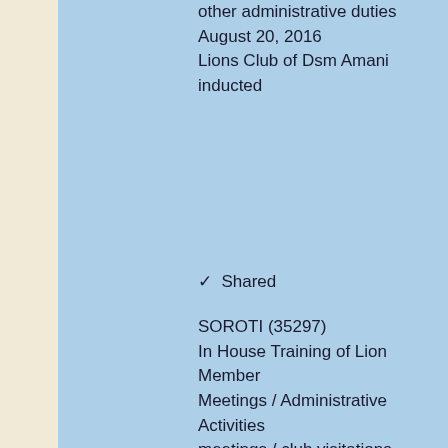other administrative duties
August 20, 2016
Lions Club of Dsm Amani inducted
✓  Shared
SOROTI (35297)
In House Training of Lion Member
Meetings / Administrative Activities
meetings / club visitations
August 07, 2016
The Members were trained on LC